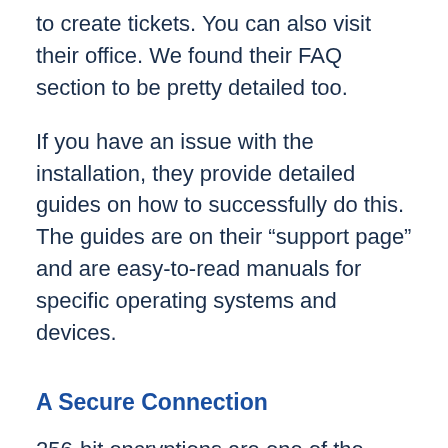to create tickets. You can also visit their office. We found their FAQ section to be pretty detailed too.
If you have an issue with the installation, they provide detailed guides on how to successfully do this. The guides are on their “support page” and are easy-to-read manuals for specific operating systems and devices.
A Secure Connection
256-bit encryptions are one of the most secure encryptions out there. Luckily for you, it protects your connection when you use Ivacy VPN. It’s so secure that it’s used by the